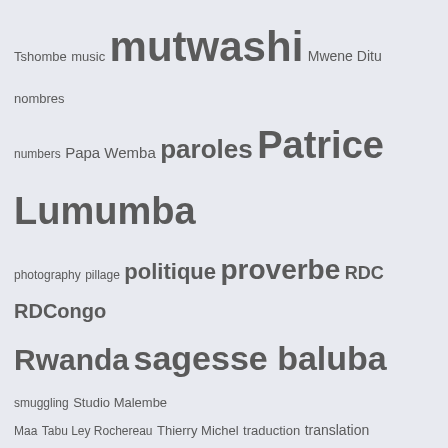Tshombe music mutwashi Mwene Ditu nombres numbers Papa Wemba paroles Patrice Lumumba photography pillage politique proverbe RDC RDCongo Rwanda sagesse baluba smuggling Studio Malembe Maa Tabu Ley Rochereau Thierry Michel traduction translation Tshala Muana United Nations video Virunga National Park vocabulary war Zaïre Étienne Tshisekedi élections
Follow @nationluba On Instagram
[Figure (photo): Three Instagram photos showing athletes running — a female athlete in red, a female athlete with dark hair in red Puma gear, and male sprinters on a red track]
Advertisements
Content Analytics Made Easy  Get A Demo →  Parse.ly